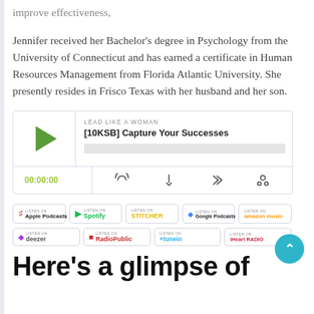improve effectiveness,
Jennifer received her Bachelor's degree in Psychology from the University of Connecticut and has earned a certificate in Human Resources Management from Florida Atlantic University. She presently resides in Frisco Texas with her husband and her son.
[Figure (screenshot): Podcast player widget showing 'LEAD LIKE A WOMAN' podcast, episode '[10KSB] Capture Your Successes', with play button, progress bar, time 00:00:00, and control icons.]
[Figure (screenshot): Row of podcast platform badges: Apple Podcasts, Spotify, Stitcher, Google Podcasts, Amazon Music, Deezer, RadioPublic, tunein, iHeartRADIO]
Here's a glimpse of